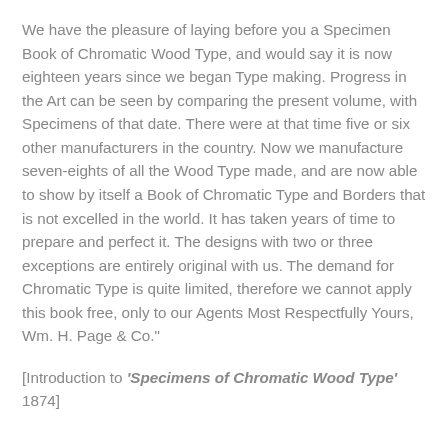We have the pleasure of laying before you a Specimen Book of Chromatic Wood Type, and would say it is now eighteen years since we began Type making. Progress in the Art can be seen by comparing the present volume, with Specimens of that date. There were at that time five or six other manufacturers in the country. Now we manufacture seven-eights of all the Wood Type made, and are now able to show by itself a Book of Chromatic Type and Borders that is not excelled in the world. It has taken years of time to prepare and perfect it. The designs with two or three exceptions are entirely original with us. The demand for Chromatic Type is quite limited, therefore we cannot apply this book free, only to our Agents Most Respectfully Yours, Wm. H. Page & Co."
[Introduction to 'Specimens of Chromatic Wood Type' 1874]